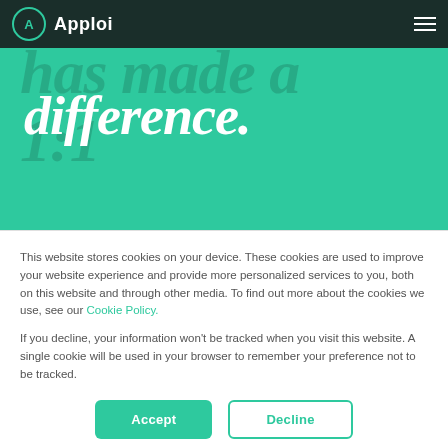Apploi
[Figure (screenshot): Green hero section with italic serif text 'has made a 1:1 difference.' overlaid on teal/green background with dark closing quotation marks at bottom left]
This website stores cookies on your device. These cookies are used to improve your website experience and provide more personalized services to you, both on this website and through other media. To find out more about the cookies we use, see our Cookie Policy.
If you decline, your information won't be tracked when you visit this website. A single cookie will be used in your browser to remember your preference not to be tracked.
Accept
Decline